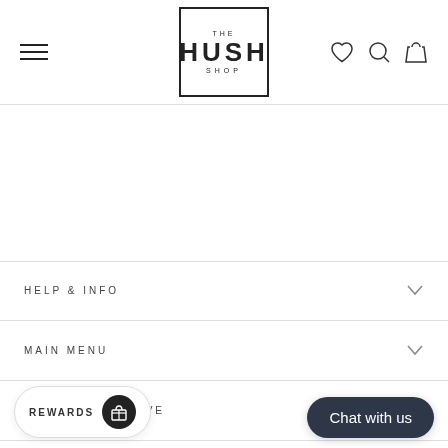[Figure (logo): The Hush Shop logo — square border with 'THE' above 'HUSH' and 'SHOP' below in uppercase letters]
HELP & INFO
MAIN MENU
SIGN UP AND SAVE
REWARDS
Chat with us